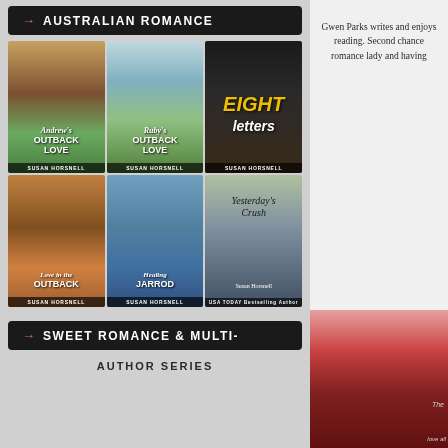→ AUSTRALIAN ROMANCE
[Figure (illustration): Six romance novel book covers arranged in two rows of three. Top row: Andrew's Outback Love by Susan Horsnell, Ruby's Outback Love by Susan Horsnell, Eight Letters by Susan Horsnell. Bottom row: Love in the Outback by Susan Horsnell, Healing Jarrod by Susan Horsnell, Yesterday's Crush by Susan Horsnell.]
Gwen Parks writes and enjoys reading. Second chance romance lady and having
→ SWEET ROMANCE & MULTI-
AUTHOR SERIES
[Figure (photo): Partial image of a red rose lying on a surface with text partially visible reading 'The' and 'love all']